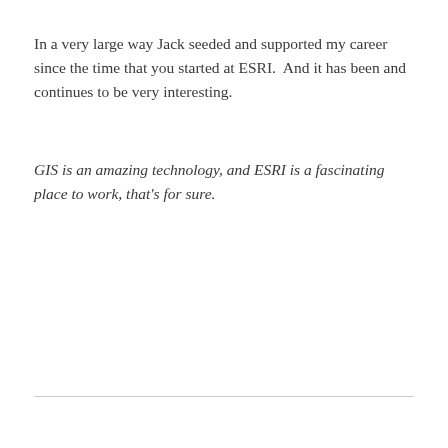In a very large way Jack seeded and supported my career since the time that you started at ESRI.  And it has been and continues to be very interesting.
GIS is an amazing technology, and ESRI is a fascinating place to work, that's for sure.